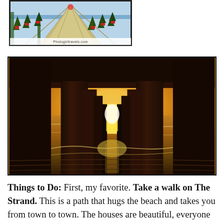[Figure (photo): Photo of a pier or boardwalk with Christmas trees lining the sides, perspective view looking down a long walkway. Watermark reads Photogirltravels.com]
[Figure (photo): Photo taken from underneath a wooden pier at sunset/golden hour. Silhouetted pier pillars frame a glowing light at the end of the tunnel perspective, with wet sand and ocean waves reflecting golden light.]
Things to Do: First, my favorite. Take a walk on The Strand. This is a path that hugs the beach and takes you from town to town. The houses are beautiful, everyone unique. In Hermosa Beach you share The Strand with